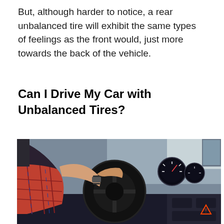But, although harder to notice, a rear unbalanced tire will exhibit the same types of feelings as the front would, just more towards the back of the vehicle.
Can I Drive My Car with Unbalanced Tires?
[Figure (photo): A person viewed from behind sitting in the driver's seat of a car, gripping a black steering wheel with both hands. The person is wearing a plaid shirt and a watch on their left wrist. The car interior including dashboard and instruments is visible.]